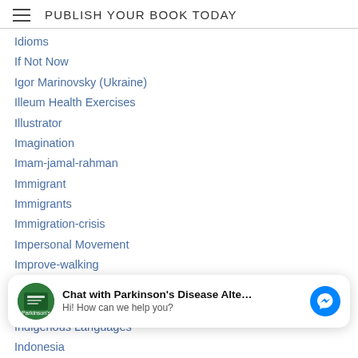PUBLISH YOUR BOOK TODAY
Idioms
If Not Now
Igor Marinovsky (Ukraine)
Illeum Health Exercises
Illustrator
Imagination
Imam-jamal-rahman
Immigrant
Immigrants
Immigration-crisis
Impersonal Movement
Improve-walking
Impurity And Gender In The Hebrew Bible
Ina-schroderszeeders
[Figure (screenshot): Chat widget overlay: avatar of Parkinson's Disease Alte book, text 'Chat with Parkinson's Disease Alte...' and 'Hi! How can we help you?', Messenger icon button]
Indigenous Languages
Indonesia